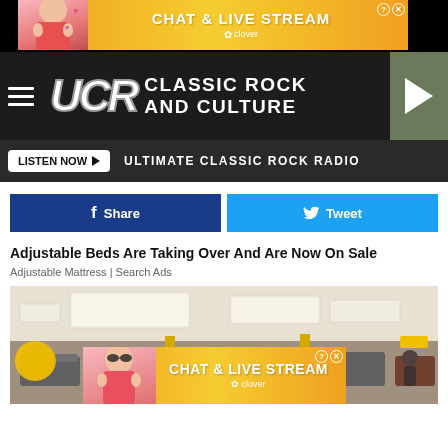[Figure (screenshot): Advertisement banner: CHAT & LIVE STREAM - clover app, with woman in bikini on left]
[Figure (logo): UCR Classic Rock And Culture logo with hamburger menu and play button]
LISTEN NOW ▶  ULTIMATE CLASSIC ROCK RADIO
f  Share
🐦 Tweet
Adjustable Beds Are Taking Over And Are Now On Sale
Adjustable Mattress | Search Ads
[Figure (photo): Interior of a furniture / mattress store with yellow balloons and ceiling lights, multiple beds/sofas on display]
[Figure (screenshot): Second CHAT & LIVE STREAM clover advertisement overlay at bottom of store photo]